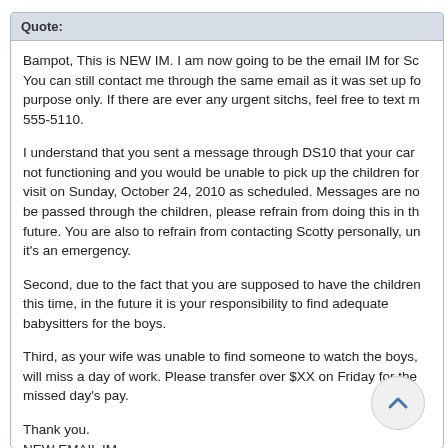Quote:
Bampot, This is NEW IM. I am now going to be the email IM for Sc You can still contact me through the same email as it was set up fo purpose only. If there are ever any urgent sitchs, feel free to text m 555-5110.
I understand that you sent a message through DS10 that your car not functioning and you would be unable to pick up the children for visit on Sunday, October 24, 2010 as scheduled. Messages are no be passed through the children, please refrain from doing this in th future. You are also to refrain from contacting Scotty personally, un it's an emergency.
Second, due to the fact that you are supposed to have the children this time, in the future it is your responsibility to find adequate babysitters for the boys.
Third, as your wife was unable to find someone to watch the boys, will miss a day of work. Please transfer over $XX on Friday for the missed day's pay.
Thank you.
NEW EMAIL IM